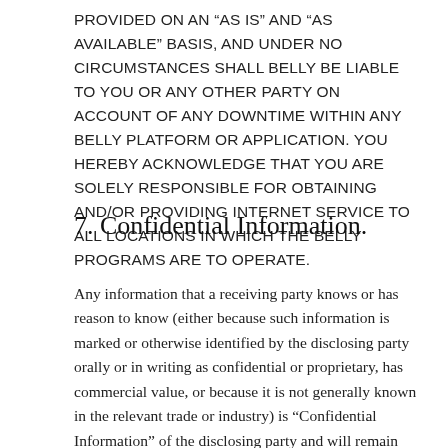PROVIDED ON AN "AS IS" AND "AS AVAILABLE" BASIS, AND UNDER NO CIRCUMSTANCES SHALL BELLY BE LIABLE TO YOU OR ANY OTHER PARTY ON ACCOUNT OF ANY DOWNTIME WITHIN ANY BELLY PLATFORM OR APPLICATION. YOU HEREBY ACKNOWLEDGE THAT YOU ARE SOLELY RESPONSIBLE FOR OBTAINING AND/OR PROVIDING INTERNET SERVICE TO ALL LOCATIONS IN WHICH THE BELLY PROGRAMS ARE TO OPERATE.
7. Confidential Information.
Any information that a receiving party knows or has reason to know (either because such information is marked or otherwise identified by the disclosing party orally or in writing as confidential or proprietary, has commercial value, or because it is not generally known in the relevant trade or industry) is “Confidential Information” of the disclosing party and will remain the sole property of the disclosing party. Such Confidential Information includes but is not